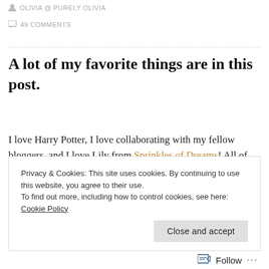OLIVIA @ PURELY OLIVIA
49 COMMENTS
A lot of my favorite things are in this post.
I love Harry Potter, I love collaborating with my fellow bloggers, and I love Lily from Sprinkles of Dreams! All of these are featured in today's post, and I have to say, I'm incredibly excited and happy about it. ✨
Privacy & Cookies: This site uses cookies. By continuing to use this website, you agree to their use.
To find out more, including how to control cookies, see here: Cookie Policy
Close and accept
Follow